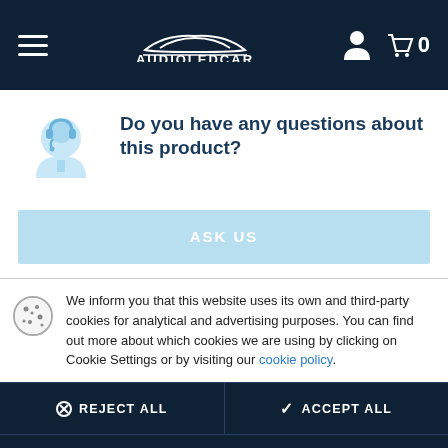AUDIOLEDCAR — navigation header with hamburger menu, logo, user icon, and cart (0)
Do you have any questions about this product?
ASK US
We inform you that this website uses its own and third-party cookies for analytical and advertising purposes. You can find out more about which cookies we are using by clicking on Cookie Settings or by visiting our cookie policy.
REJECT ALL
ACCEPT ALL
CONFIGURE